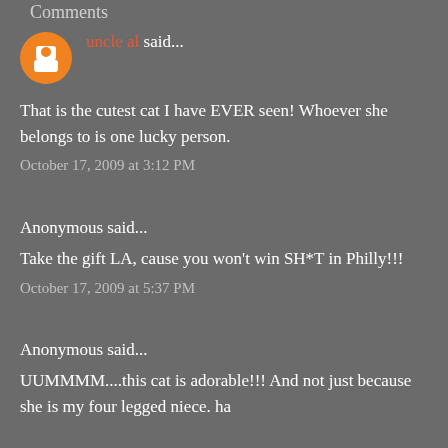Comments
uncle al said...
That is the cutest cat I have EVER seen! Whoever she belongs to is one lucky person.
October 17, 2009 at 3:12 PM
Anonymous said...
Take the gift LA, cause you won't win SH*T in Philly!!!
October 17, 2009 at 5:37 PM
Anonymous said...
UUMMMMM....this cat is adorable!!! And not just because she is my four legged niece. ha